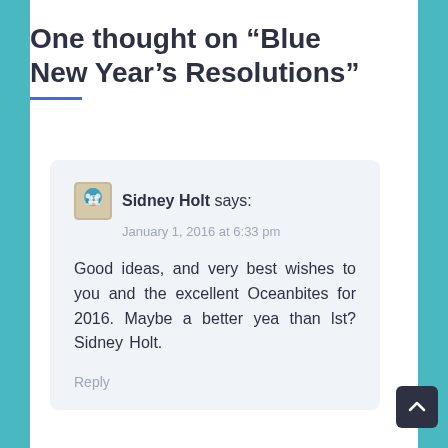One thought on “Blue New Year’s Resolutions”
Sidney Holt says:
January 1, 2016 at 6:33 pm

Good ideas, and very best wishes to you and the excellent Oceanbites for 2016. Maybe a better yea than lst? Sidney Holt.

Reply